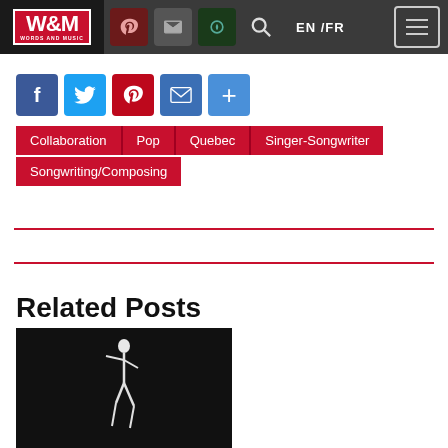W&M Words and Music — EN / FR navigation header
[Figure (infographic): Social share buttons: Facebook, Twitter, Pinterest, Email, More (+)]
Collaboration
Pop
Quebec
Singer-Songwriter
Songwriting/Composing
Related Posts
[Figure (photo): Black and white photo of a dancer/figure against dark background]